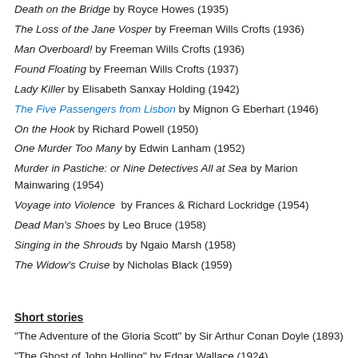Death on the Bridge by Royce Howes (1935)
The Loss of the Jane Vosper by Freeman Wills Crofts (1936)
Man Overboard! by Freeman Wills Crofts (1936)
Found Floating by Freeman Wills Crofts (1937)
Lady Killer by Elisabeth Sanxay Holding (1942)
The Five Passengers from Lisbon by Mignon G Eberhart (1946)
On the Hook by Richard Powell (1950)
One Murder Too Many by Edwin Lanham (1952)
Murder in Pastiche: or Nine Detectives All at Sea by Marion Mainwaring (1954)
Voyage into Violence by Frances & Richard Lockridge (1954)
Dead Man's Shoes by Leo Bruce (1958)
Singing in the Shrouds by Ngaio Marsh (1958)
The Widow's Cruise by Nicholas Black (1959)
Short stories
"The Adventure of the Gloria Scott" by Sir Arthur Conan Doyle (1893)
“The Ghost of John Holling” by Edgar Wallace (1924)
"Problem at Sea" by Agatha Christie (1935)